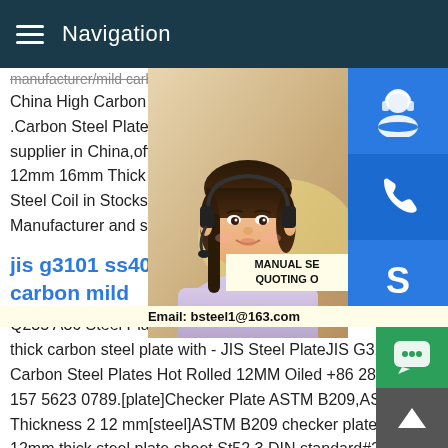Navigation
manufacturer/mild carbon 12mm thick s for...
China High Carbon Hot Rolled 5mm 10mm .Carbon Steel Plate,Steel Plate,Mild Steel supplier in China,offering High Carbon Ho 12mm 16mm Thick Mild Steel Plate,Short Steel Coil in Stocks,12 Inch Schedule 40 S Manufacturer and so on.
jis g3101 ss400 12mm thick h carbon mild
Q235 A36 Steel Plate Ss400 20mm Thick thick carbon steel plate with - JIS Steel PlateJIS G3101 SS400 Carbon Steel Plates Hot Rolled 12MM Oiled +86 28 85223949,+86 157 5623 0789.[plate]Checker Plate ASTM B209,ASTM A36 Thickness 2 12 mm[steel]ASTM B209 checker plate 96 12 12 12mm thick steel plate sheet St52 3 DIN standard#215; 48 12 12mm thick steel plate sheet St52 3 DIN standard#215; 1/4 th
[Figure (photo): Customer service representative woman with headset, smiling]
[Figure (infographic): Blue icon buttons: headset/support icon, phone icon, Skype icon on right side]
MANUAL SE... QUOTING O...
Email: bsteel1@163.com